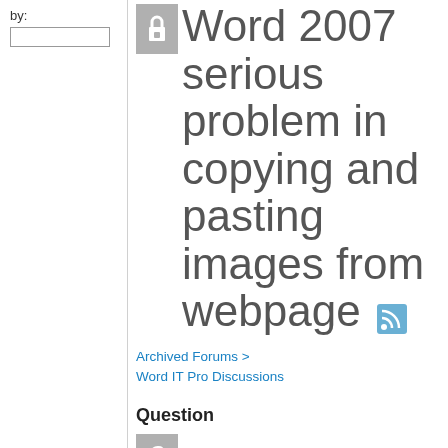by:
Word 2007 serious problem in copying and pasting images from webpage
Archived Forums > Word IT Pro Discussions
Question
[Figure (other): Question mark icon placeholder]